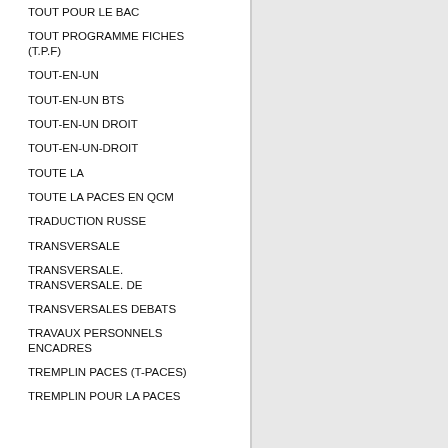TOUT POUR LE BAC
TOUT PROGRAMME FICHES (T.P.F)
TOUT-EN-UN
TOUT-EN-UN BTS
TOUT-EN-UN DROIT
TOUT-EN-UN-DROIT
TOUTE LA
TOUTE LA PACES EN QCM
TRADUCTION RUSSE
TRANSVERSALE
TRANSVERSALE. TRANSVERSALE. DE
TRANSVERSALES DEBATS
TRAVAUX PERSONNELS ENCADRES
TREMPLIN PACES (T-PACES)
TREMPLIN POUR LA PACES